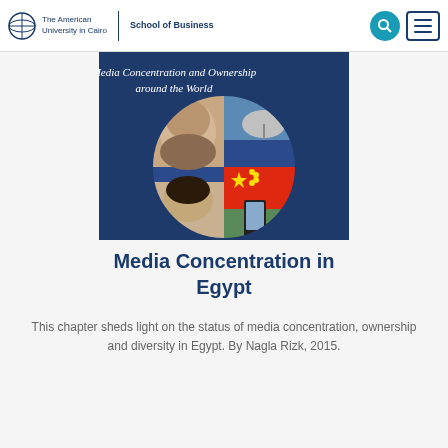The American University in Cairo | School of Business
[Figure (photo): Book cover titled 'Media Concentration and Ownership around the World' featuring a collage of images including media personalities, a satellite dish, the Chinese flag, a smartphone, and a Wall Street sign, arranged in a circular mosaic on a dark blue background.]
Media Concentration in Egypt
This chapter sheds light on the status of media concentration, ownership and diversity in Egypt. By Nagla Rizk, 2015.